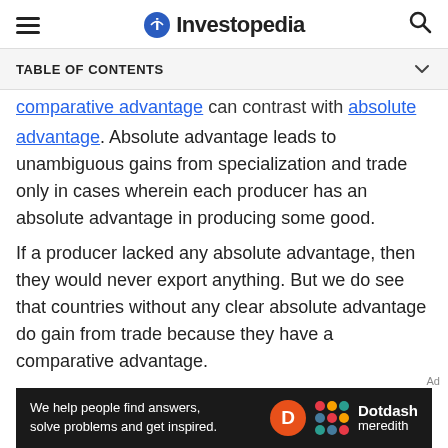Investopedia
TABLE OF CONTENTS
comparative advantage can contrast with absolute advantage. Absolute advantage leads to unambiguous gains from specialization and trade only in cases wherein each producer has an absolute advantage in producing some good.
If a producer lacked any absolute advantage, then they would never export anything. But we do see that countries without any clear absolute advantage do gain from trade because they have a comparative advantage.
[Figure (other): Dotdash Meredith advertisement banner: 'We help people find answers, solve problems and get inspired.']